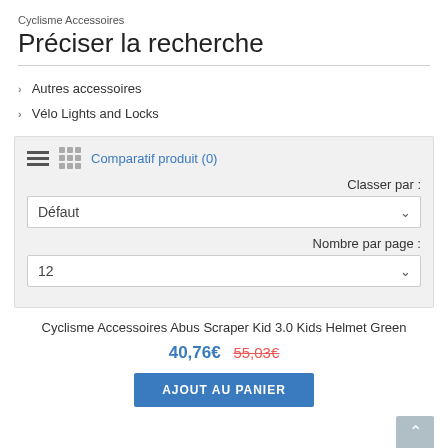Cyclisme Accessoires
Préciser la recherche
Autres accessoires
Vélo Lights and Locks
Comparatif produit (0)
Classer par :
Défaut
Nombre par page :
12
Cyclisme Accessoires Abus Scraper Kid 3.0 Kids Helmet Green
40,76€ 55,03€
AJOUT AU PANIER